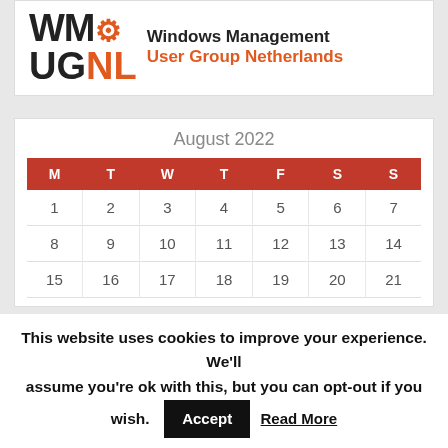[Figure (logo): WMI UGNL - Windows Management User Group Netherlands logo with gear icon]
| M | T | W | T | F | S | S |
| --- | --- | --- | --- | --- | --- | --- |
| 1 | 2 | 3 | 4 | 5 | 6 | 7 |
| 8 | 9 | 10 | 11 | 12 | 13 | 14 |
| 15 | 16 | 17 | 18 | 19 | 20 | 21 |
This website uses cookies to improve your experience. We'll assume you're ok with this, but you can opt-out if you wish. Accept  Read More